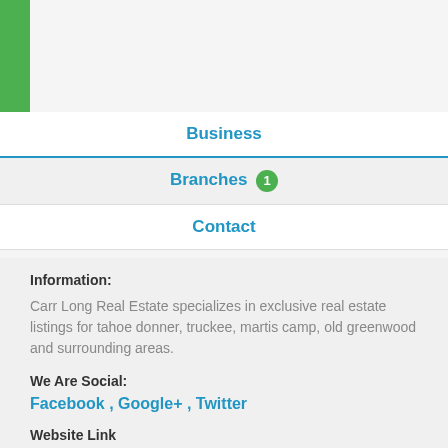Business
Branches 1
Contact
Information:
Carr Long Real Estate specializes in exclusive real estate listings for tahoe donner, truckee, martis camp, old greenwood and surrounding areas.
We Are Social:
Facebook , Google+ , Twitter
Website Link
http://www.carrlong.com/